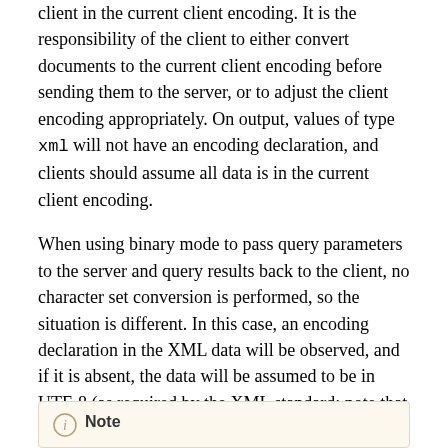client in the current client encoding. It is the responsibility of the client to either convert documents to the current client encoding before sending them to the server, or to adjust the client encoding appropriately. On output, values of type xml will not have an encoding declaration, and clients should assume all data is in the current client encoding.
When using binary mode to pass query parameters to the server and query results back to the client, no character set conversion is performed, so the situation is different. In this case, an encoding declaration in the XML data will be observed, and if it is absent, the data will be assumed to be in UTF-8 (as required by the XML standard; note that Greenplum Database does not support UTF-16). On output, data will have an encoding declaration specifying the client encoding, unless the client encoding is UTF-8, in which case it will be omitted.
Note